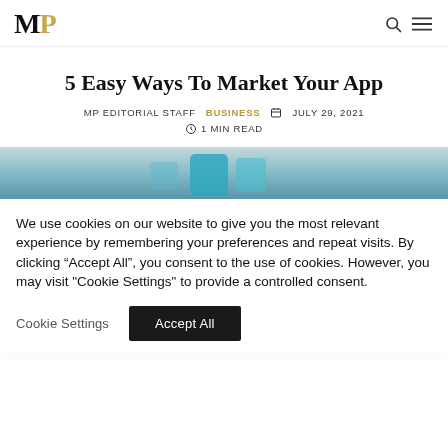MP
5 Easy Ways To Market Your App
MP EDITORIAL STAFF  BUSINESS  JULY 29, 2021  1 MIN READ
[Figure (photo): Hero image showing a smartphone or mobile app, with a blue-green teal gradient background]
We use cookies on our website to give you the most relevant experience by remembering your preferences and repeat visits. By clicking "Accept All", you consent to the use of cookies. However, you may visit "Cookie Settings" to provide a controlled consent.
Cookie Settings  Accept All